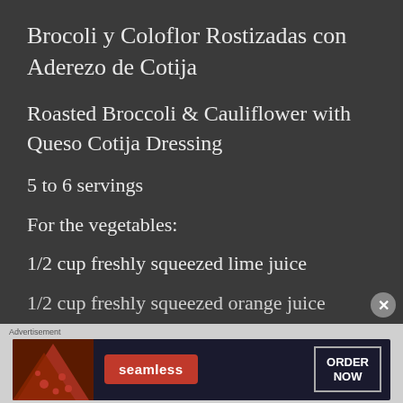Brocoli y Coloflor Rostizadas con Aderezo de Cotija
Roasted Broccoli & Cauliflower with Queso Cotija Dressing
5 to 6 servings
For the vegetables:
1/2 cup freshly squeezed lime juice
1/2 cup freshly squeezed orange juice
[Figure (other): Advertisement banner for Seamless food ordering service with pizza image, Seamless logo button, and ORDER NOW button]